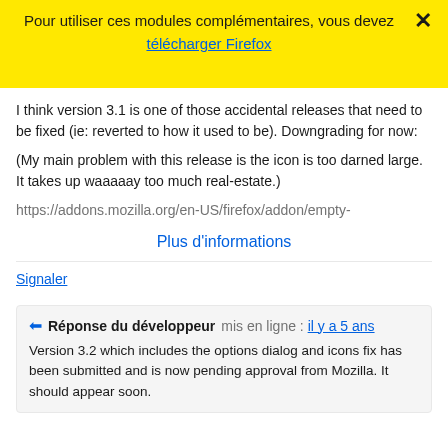Pour utiliser ces modules complémentaires, vous devez
télécharger Firefox
I think version 3.1 is one of those accidental releases that need to be fixed (ie: reverted to how it used to be). Downgrading for now:

(My main problem with this release is the icon is too darned large. It takes up waaaaay too much real-estate.)
https://addons.mozilla.org/en-US/firefox/addon/empty-
Plus d'informations
Signaler
Réponse du développeur mis en ligne : il y a 5 ans
Version 3.2 which includes the options dialog and icons fix has been submitted and is now pending approval from Mozilla. It should appear soon.